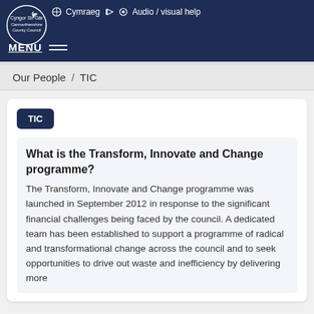Cymraeg | Audio / visual help | Carmarthenshire County Council | MENU
Our People / TIC
TIC
What is the Transform, Innovate and Change programme?
The Transform, Innovate and Change programme was launched in September 2012 in response to the significant financial challenges being faced by the council. A dedicated team has been established to support a programme of radical and transformational change across the council and to seek opportunities to drive out waste and inefficiency by delivering more